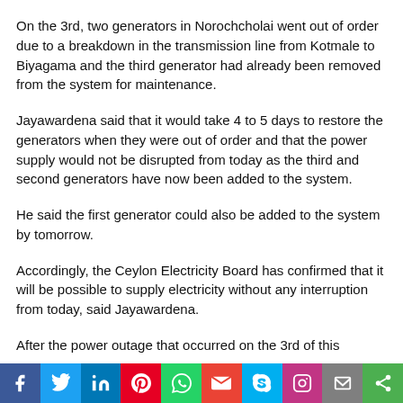On the 3rd, two generators in Norochcholai went out of order due to a breakdown in the transmission line from Kotmale to Biyagama and the third generator had already been removed from the system for maintenance.
Jayawardena said that it would take 4 to 5 days to restore the generators when they were out of order and that the power supply would not be disrupted from today as the third and second generators have now been added to the system.
He said the first generator could also be added to the system by tomorrow.
Accordingly, the Ceylon Electricity Board has confirmed that it will be possible to supply electricity without any interruption from today, said Jayawardena.
After the power outage that occurred on the 3rd of this
[Figure (infographic): Social media share bar with icons: Facebook (blue), Twitter (light blue), LinkedIn (dark blue), Pinterest (red), WhatsApp (green), Gmail (red), Skype (blue), Instagram (purple), Mail (grey), Share (green)]